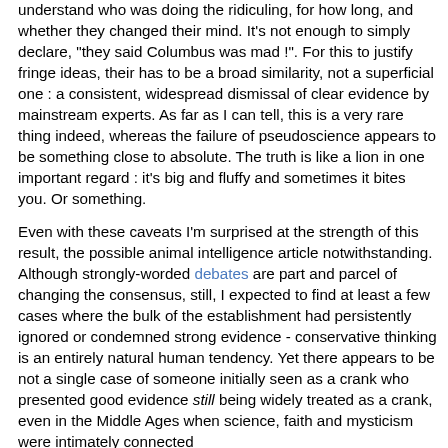understand who was doing the ridiculing, for how long, and whether they changed their mind. It's not enough to simply declare, "they said Columbus was mad !". For this to justify fringe ideas, their has to be a broad similarity, not a superficial one : a consistent, widespread dismissal of clear evidence by mainstream experts. As far as I can tell, this is a very rare thing indeed, whereas the failure of pseudoscience appears to be something close to absolute. The truth is like a lion in one important regard : it's big and fluffy and sometimes it bites you. Or something.
Even with these caveats I'm surprised at the strength of this result, the possible animal intelligence article notwithstanding. Although strongly-worded debates are part and parcel of changing the consensus, still, I expected to find at least a few cases where the bulk of the establishment had persistently ignored or condemned strong evidence - conservative thinking is an entirely natural human tendency. Yet there appears to be not a single case of someone initially seen as a crank who presented good evidence still being widely treated as a crank, even in the Middle Ages when science, faith and mysticism were intimately connected